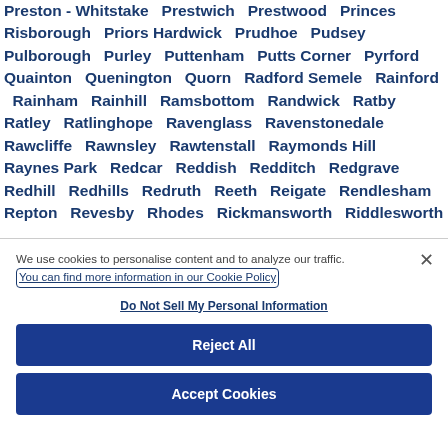Preston - Whitstake  Prestwich  Prestwood  Princes Risborough  Priors Hardwick  Prudhoe  Pudsey  Pulborough  Purley  Puttenham  Putts Corner  Pyrford  Quainton  Quenington  Quorn  Radford Semele  Rainford  Rainham  Rainhill  Ramsbottom  Randwick  Ratby  Ratley  Ratlinghope  Ravenglass  Ravenstonedale  Rawcliffe  Rawnsley  Rawtenstall  Raymonds Hill  Raynes Park  Redcar  Reddish  Redditch  Redgrave  Redhill  Redhills  Redruth  Reeth  Reigate  Rendlesham  Repton  Revesby  Rhodes  Rickmansworth  Riddlesworth
We use cookies to personalise content and to analyze our traffic. You can find more information in our Cookie Policy
Do Not Sell My Personal Information
Reject All
Accept Cookies